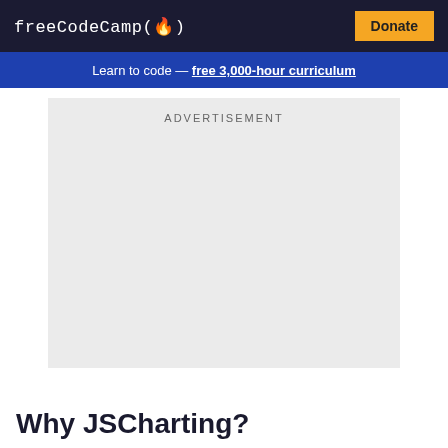freeCodeCamp(🔥) Donate
Learn to code — free 3,000-hour curriculum
[Figure (other): Advertisement placeholder box with light gray background]
Why JSCharting?